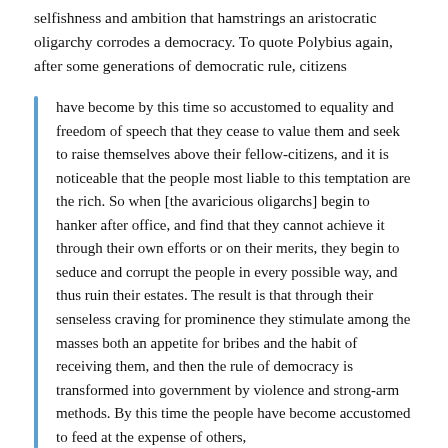selfishness and ambition that hamstrings an aristocratic oligarchy corrodes a democracy. To quote Polybius again, after some generations of democratic rule, citizens
have become by this time so accustomed to equality and freedom of speech that they cease to value them and seek to raise themselves above their fellow-citizens, and it is noticeable that the people most liable to this temptation are the rich. So when [the avaricious oligarchs] begin to hanker after office, and find that they cannot achieve it through their own efforts or on their merits, they begin to seduce and corrupt the people in every possible way, and thus ruin their estates. The result is that through their senseless craving for prominence they stimulate among the masses both an appetite for bribes and the habit of receiving them, and then the rule of democracy is transformed into government by violence and strong-arm methods. By this time the people have become accustomed to feed at the expense of others,